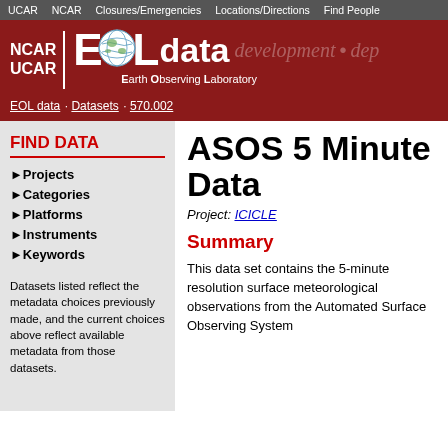UCAR   NCAR   Closures/Emergencies   Locations/Directions   Find People
[Figure (logo): NCAR UCAR EOL data Earth Observing Laboratory logo with globe icon on dark red background]
EOL data · Datasets · 570.002
FIND DATA
Projects
Categories
Platforms
Instruments
Keywords
Datasets listed reflect the metadata choices previously made, and the current choices above reflect available metadata from those datasets.
ASOS 5 Minute Data
Project: ICICLE
Summary
This data set contains the 5-minute resolution surface meteorological observations from the Automated Surface Observing System